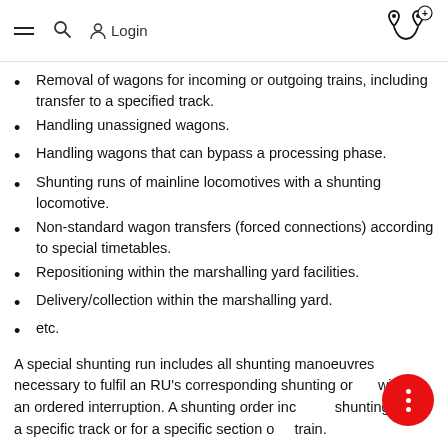≡  🔍  Login  [route icon]
Removal of wagons for incoming or outgoing trains, including transfer to a specified track.
Handling unassigned wagons.
Handling wagons that can bypass a processing phase.
Shunting runs of mainline locomotives with a shunting locomotive.
Non-standard wagon transfers (forced connections) according to special timetables.
Repositioning within the marshalling yard facilities.
Delivery/collection within the marshalling yard.
etc.
A special shunting run includes all shunting manoeuvres necessary to fulfil an RU's corresponding shunting order without an ordered interruption. A shunting order includes shunting from a specific track or for a specific section of a train.